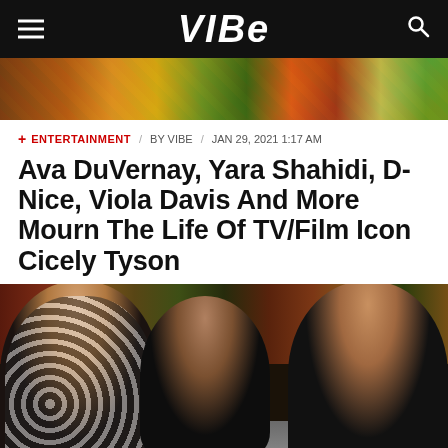VIBE
[Figure (photo): Partial photo showing colorful clothing/accessories, cropped at top of page]
+ ENTERTAINMENT / BY VIBE / JAN 29, 2021 1:17 AM
Ava DuVernay, Yara Shahidi, D-Nice, Viola Davis And More Mourn The Life Of TV/Film Icon Cicely Tyson
[Figure (photo): Three women seated together posing for a photo. Left woman wears black and white polka dot dress with a Gucci belt, center woman wears black fur, right woman wears all black with locs hairstyle.]